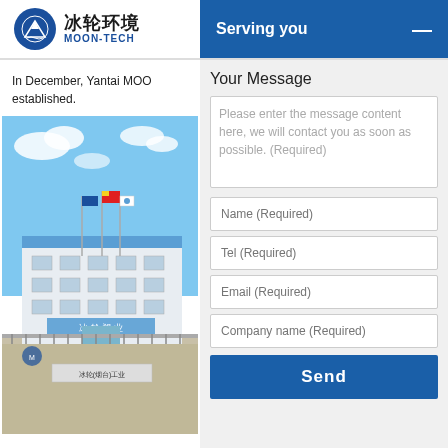[Figure (logo): Moon-Tech (冰轮环境) company logo with circular blue emblem and Chinese/English text]
Serving you —
In December, Yantai MOO established.
[Figure (photo): Photo of 冰轮塑业 (Moon-Tech) factory building with flagpoles bearing Chinese, MOON flag, and blue sky]
Your Message
Please enter the message content here, we will contact you as soon as possible. (Required)
Name (Required)
Tel (Required)
Email (Required)
Company name (Required)
Send